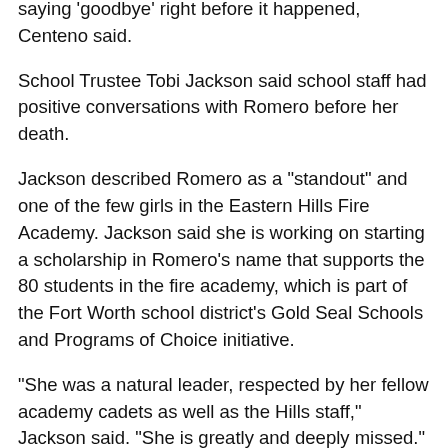saying 'goodbye' right before it happened, Centeno said.
School Trustee Tobi Jackson said school staff had positive conversations with Romero before her death.
Jackson described Romero as a "standout" and one of the few girls in the Eastern Hills Fire Academy. Jackson said she is working on starting a scholarship in Romero's name that supports the 80 students in the fire academy, which is part of the Fort Worth school district's Gold Seal Schools and Programs of Choice initiative.
"She was a natural leader, respected by her fellow academy cadets as well as the Hills staff," Jackson said. "She is greatly and deeply missed."
Fire academy chief Eddie Burns said Romero would been in the fire academy's first graduating class in May. She